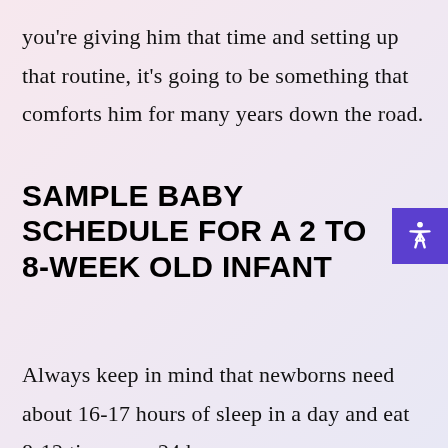you're giving him that time and setting up that routine, it's going to be something that comforts him for many years down the road.
SAMPLE BABY SCHEDULE FOR A 2 TO 8-WEEK OLD INFANT
Always keep in mind that newborns need about 16-17 hours of sleep in a day and eat 8-12 times per 24 hours.